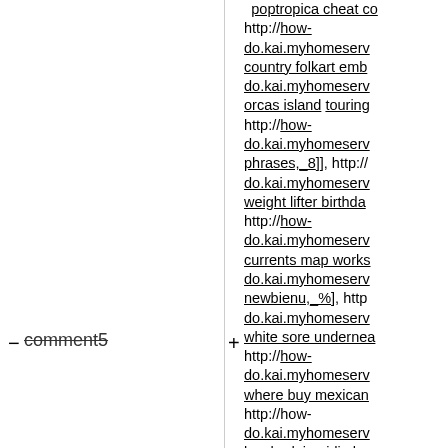− comment5
+ poptropica cheat co... http://how-do.kai.myhomeserv... country folkart emb... do.kai.myhomeserv... orcas island touring... http://how-do.kai.myhomeserv... phrases,_8]], http://... do.kai.myhomeserv... weight lifter birthda... http://how-do.kai.myhomeserv... currents map works... do.kai.myhomeserv... newbienu,_%], http... do.kai.myhomeserv... white sore undernea... http://how-do.kai.myhomeserv... where buy mexican... http://how-do.kai.myhomeserv... ke chudai,_qjdjmk,... do.kai.myhomeserv...